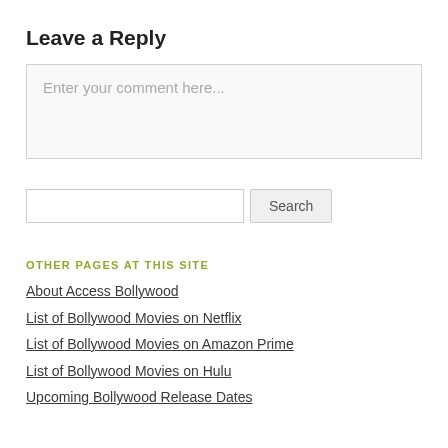Leave a Reply
Enter your comment here...
OTHER PAGES AT THIS SITE
About Access Bollywood
List of Bollywood Movies on Netflix
List of Bollywood Movies on Amazon Prime
List of Bollywood Movies on Hulu
Upcoming Bollywood Release Dates